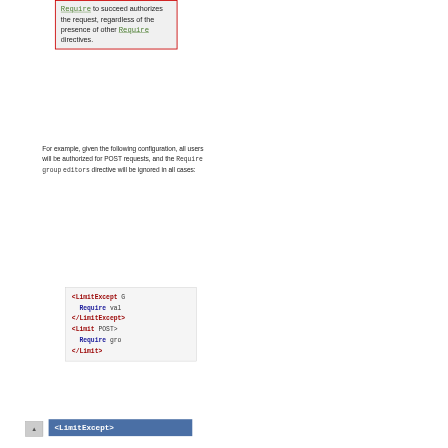Require to succeed authorizes the request, regardless of the presence of other Require directives.
For example, given the following configuration, all users will be authorized for POST requests, and the Require group editors directive will be ignored in all cases:
[Figure (other): Code block showing Apache configuration: <LimitExcept GET> Require valid-user </LimitExcept> <Limit POST> Require group editors </Limit>]
<LimitExcept>